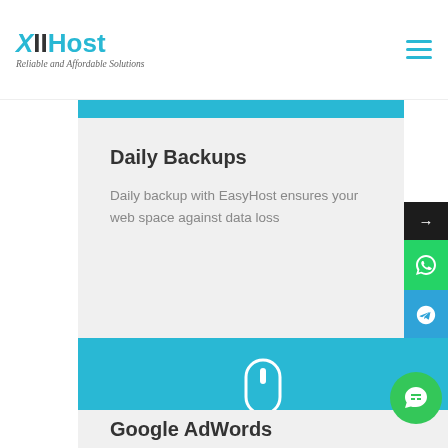[Figure (logo): XIIHost logo with tagline 'Reliable and Affordable Solutions']
[Figure (infographic): Hamburger menu icon in cyan]
Daily Backups
Daily backup with EasyHost ensures your web space against data loss
[Figure (illustration): Mouse icon on cyan background]
Google AdWords